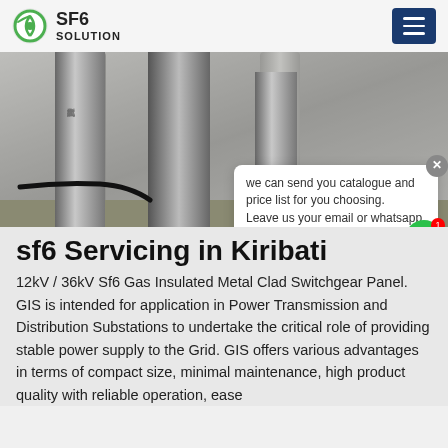SF6 SOLUTION
[Figure (photo): Industrial SF6 gas insulated switchgear pipes/columns installed outdoors on a concrete base, with cables visible]
sf6 Servicing in Kiribati
12kV / 36kV Sf6 Gas Insulated Metal Clad Switchgear Panel. GIS is intended for application in Power Transmission and Distribution Substations to undertake the critical role of providing stable power supply to the Grid. GIS offers various advantages in terms of compact size, minimal maintenance, high product quality with reliable operation, ease